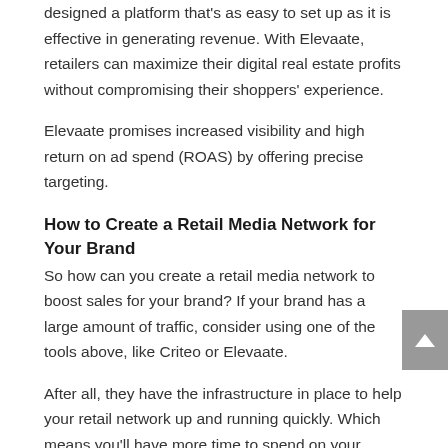designed a platform that's as easy to set up as it is effective in generating revenue. With Elevaate, retailers can maximize their digital real estate profits without compromising their shoppers' experience.
Elevaate promises increased visibility and high return on ad spend (ROAS) by offering precise targeting.
How to Create a Retail Media Network for Your Brand
So how can you create a retail media network to boost sales for your brand? If your brand has a large amount of traffic, consider using one of the tools above, like Criteo or Elevaate.
After all, they have the infrastructure in place to help your retail network up and running quickly. Which means you'll have more time to spend on your business.
With most of them, the process is as simple as